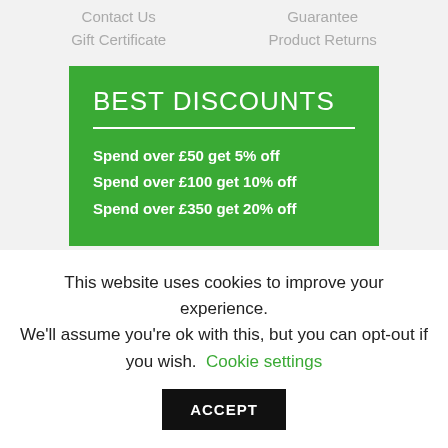Contact Us
Guarantee
Gift Certificate
Product Returns
[Figure (infographic): Green promotional banner showing 'BEST DISCOUNTS' with three discount tiers: Spend over £50 get 5% off, Spend over £100 get 10% off, Spend over £350 get 20% off]
This website uses cookies to improve your experience. We'll assume you're ok with this, but you can opt-out if you wish.
Cookie settings
ACCEPT